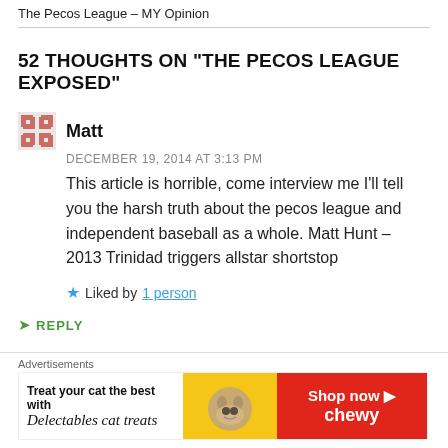The Pecos League – MY Opinion
52 THOUGHTS ON "THE PECOS LEAGUE EXPOSED"
Matt
DECEMBER 19, 2014 AT 3:13 PM
This article is horrible, come interview me I'll tell you the harsh truth about the pecos league and independent baseball as a whole. Matt Hunt – 2013 Trinidad triggers allstar shortstop
Liked by 1 person
REPLY
Advertisements
[Figure (other): Advertisement banner: Treat your cat the best with Delectables cat treats. Shop now. Chewy.]